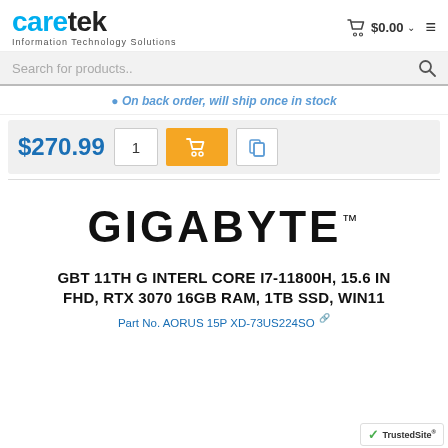caretek - Information Technology Solutions | $0.00
Search for products..
On back order, will ship once in stock
$270.99
[Figure (logo): GIGABYTE brand logo in large bold black uppercase text with trademark symbol]
GBT 11TH G INTERL CORE I7-11800H, 15.6 IN FHD, RTX 3070 16GB RAM, 1TB SSD, WIN11
Part No. AORUS 15P XD-73US224SO
[Figure (logo): TrustedSite badge with green checkmark]